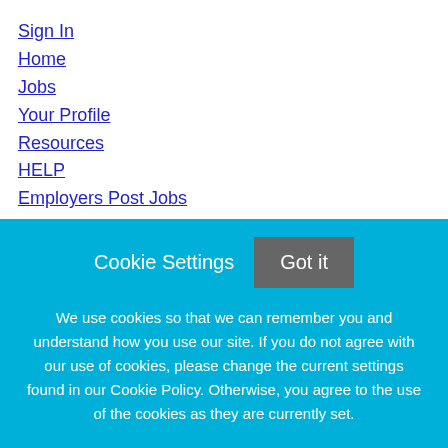Sign In
Home
Jobs
Your Profile
Resources
HELP
Employers Post Jobs
Privacy Policy
Dec 2, 2019
This privacy notice discloses the privacy practices for http://careers.asnr.org. This privacy notice applies solely to
Cookie Settings
Got it
We use cookies so that we can remember you and understand how you use our site. If you do not agree with our use of cookies, please change the current settings found in our Cookie Policy. Otherwise, you agree to the use of the cookies as they are currently set.